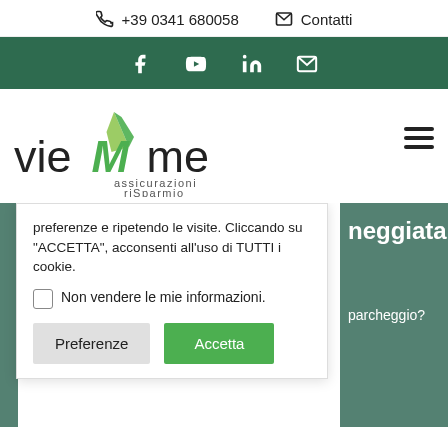+39 0341 680058   Contatti
[Figure (screenshot): Social media icon bar with dark green background: Facebook, YouTube, LinkedIn, Email icons in white]
[Figure (logo): VieMMme assicurazioni risparmio logo with green kite/leaf graphic]
preferenze e ripetendo le visite. Cliccando su "ACCETTA", acconsenti all'uso di TUTTI i cookie.
Non vendere le mie informazioni.
Preferenze   Accetta
neggiata
parcheggio?